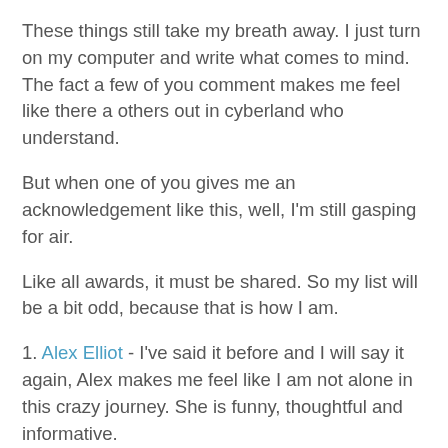These things still take my breath away. I just turn on my computer and write what comes to mind. The fact a few of you comment makes me feel like there a others out in cyberland who understand.
But when one of you gives me an acknowledgement like this, well, I'm still gasping for air.
Like all awards, it must be shared. So my list will be a bit odd, because that is how I am.
1. Alex Elliot - I've said it before and I will say it again, Alex makes me feel like I am not alone in this crazy journey. She is funny, thoughtful and informative.
2. The Blog Exchange - the insanely talented Kristen Chase created and maintains the Blog Exchange among other endeavours, plus being a superior mom to two kids. It is by far my favorite "activity" that I have found so far (and no not because I finally got a couple of Best of nods). I have made wonderful friends through the exchange, found new sites to explore, learned a new challenges to write to, joined a book list...